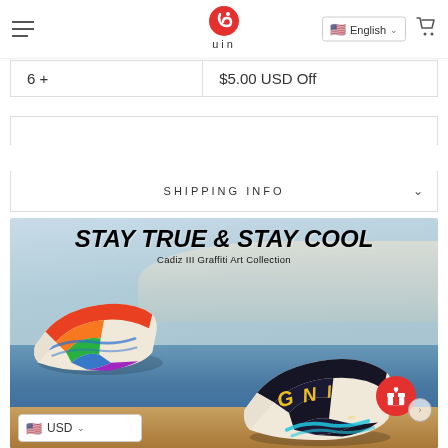uin — English (language selector), search icon, cart icon
| 6 + | $5.00 USD Off |
HOW TO ORDER
SHIPPING INFO
[Figure (photo): Banner for Cadiz III Graffiti Art Collection showing colorful painted slip-on shoes against a beach/ocean background. Text reads: STAY TRUE & STAY COOL — Cadiz III Graffiti Art Collection]
USD
STAY TRUE & STAY COOL
Cadiz III Graffiti Art Collection